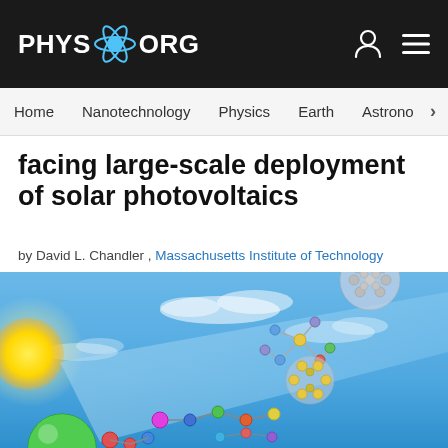PHYS.ORG
Home  Nanotechnology  Physics  Earth  Astronomy
facing large-scale deployment of solar photovoltaics
by David L. Chandler , Massachusetts Institute of Technology
[Figure (illustration): Scientific illustration showing sun with yellow glow on left, blue sky background with clouds, and a beam of light containing various molecular/nanoparticle structures including fullerenes, molecular clusters, and colorful atomic chain structures]